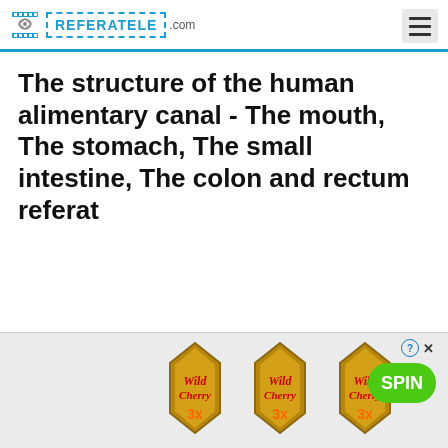REFERATELE.com
The structure of the human alimentary canal - The mouth, The stomach, The small intestine, The colon and rectum referat
[Figure (advertisement): Wild Cherry 3x slot machine advertisement banner with SPIN button]